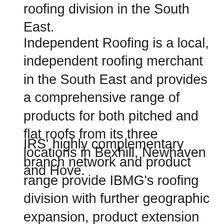roofing division in the South East.
Independent Roofing is a local, independent roofing merchant in the South East and provides a comprehensive range of products for both pitched and flat roofs from its three locations in Bexhill, Newhaven and Hove.
IRS' highly complementary branch network and product range provide IBMG's roofing division with further geographic expansion, product extension and a strong platform for further growth. Culturally, both companies share a common vision, independent ethos and commitment